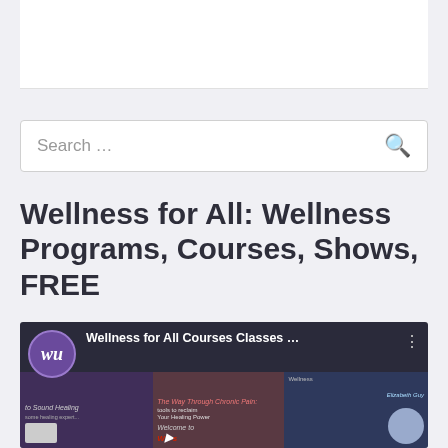[Figure (screenshot): White content box at top of webpage]
[Figure (screenshot): Search box with placeholder text 'Search ...' and a search icon]
Wellness for All: Wellness Programs, Courses, Shows, FREE
[Figure (screenshot): YouTube video thumbnail for 'Wellness for All Courses Classes ...' with WU logo, presenter thumbnails, italic text about sound healing and chronic pain, and 'Welcome to W...s' banner]